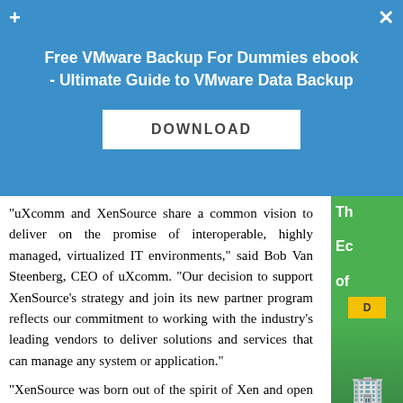[Figure (other): Blue promotional banner overlay: 'Free VMware Backup For Dummies ebook - Ultimate Guide to VMware Data Backup' with a DOWNLOAD button, plus and close icons]
"uXcomm and XenSource share a common vision to deliver on the promise of interoperable, highly managed, virtualized IT environments," said Bob Van Steenberg, CEO of uXcomm. "Our decision to support XenSource's strategy and join its new partner program reflects our commitment to working with the industry's leading vendors to deliver solutions and services that can manage any system or application."
"XenSource was born out of the spirit of Xen and open source, so it's only natural for us to work closely with a broad set of vendors to ensure interoperability and collaborate on joint development," said Benn Schreiber, director of business development at XenSource. "This program empowers partners to leverage XenEnterprise's core technology to provide secure, manageable, high performance virtualization